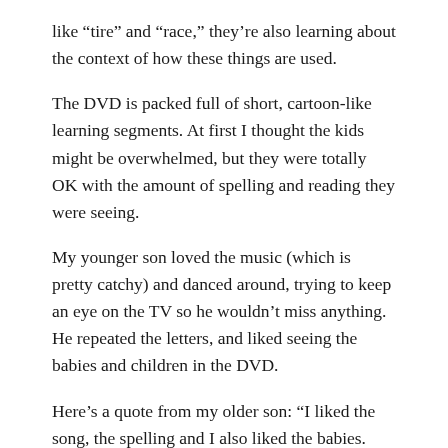like “tire” and “race,” they’re also learning about the context of how these things are used.
The DVD is packed full of short, cartoon-like learning segments. At first I thought the kids might be overwhelmed, but they were totally OK with the amount of spelling and reading they were seeing.
My younger son loved the music (which is pretty catchy) and danced around, trying to keep an eye on the TV so he wouldn’t miss anything. He repeated the letters, and liked seeing the babies and children in the DVD.
Here’s a quote from my older son: “I liked the song, the spelling and I also liked the babies. And I liked the race cars. I can’t wait to watch it again sometime!”
I asked him if he would recommend it to his friends. His